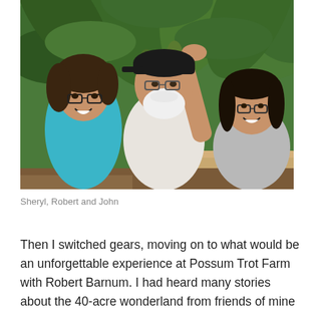[Figure (photo): Three people posing outdoors among large tropical green leaves. A woman with glasses and a teal shirt on the left, an older man with a white beard and cap in the center reaching up to touch leaves, and a younger man with glasses and a gray shirt on the right. There is a wooden raised garden bed visible in the background.]
Sheryl, Robert and John
Then I switched gears, moving on to what would be an unforgettable experience at Possum Trot Farm with Robert Barnum. I had heard many stories about the 40-acre wonderland from friends of mine and after visiting a few